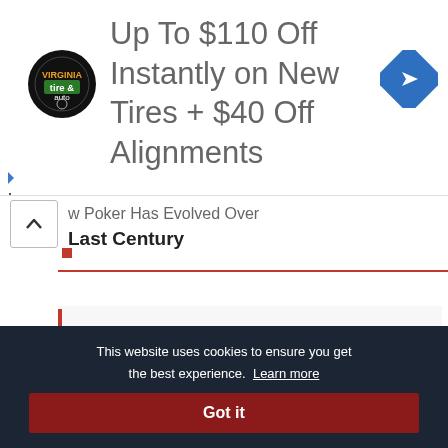[Figure (infographic): Advertisement banner: Virginia Tire & Auto logo (circular black badge), text 'Up To $110 Off Instantly on New Tires + $40 Off Alignments', blue diamond navigation arrow icon on the right.]
How Poker Has Evolved Over the Last Century
LEAVE A COMMENT
This website uses cookies to ensure you get the best experience. Learn more
Got it